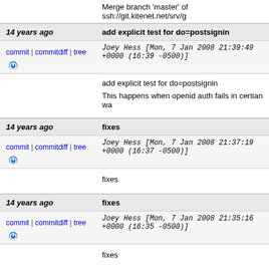Merge branch 'master' of ssh://git.kitenet.net/srv/g
14 years ago | add explicit test for do=postsignin
commit | commitdiff | tree  Joey Hess [Mon, 7 Jan 2008 21:39:49 +0000 (16:39 -0500)]
add explicit test for do=postsignin

This happens when openid auth fails in certian wa
14 years ago | fixes
commit | commitdiff | tree  Joey Hess [Mon, 7 Jan 2008 21:37:19 +0000 (16:37 -0500)]
fixes
14 years ago | fixes
commit | commitdiff | tree  Joey Hess [Mon, 7 Jan 2008 21:35:16 +0000 (16:35 -0500)]
fixes
14 years ago | * Improved the canedit hook interface, allowing a callback function to be